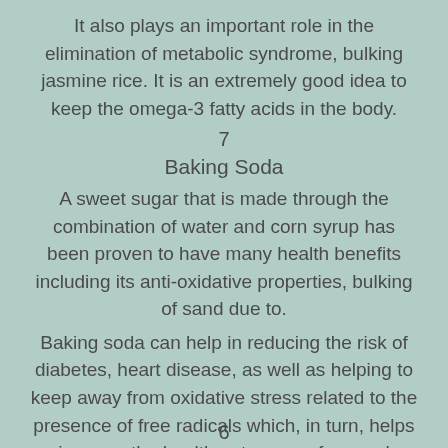It also plays an important role in the elimination of metabolic syndrome, bulking jasmine rice. It is an extremely good idea to keep the omega-3 fatty acids in the body.
7
Baking Soda
A sweet sugar that is made through the combination of water and corn syrup has been proven to have many health benefits including its anti-oxidative properties, bulking of sand due to.
Baking soda can help in reducing the risk of diabetes, heart disease, as well as helping to keep away from oxidative stress related to the presence of free radicals which, in turn, helps improve the health outcomes of several diseases, best supplements for skinny guys to bulk up.
6